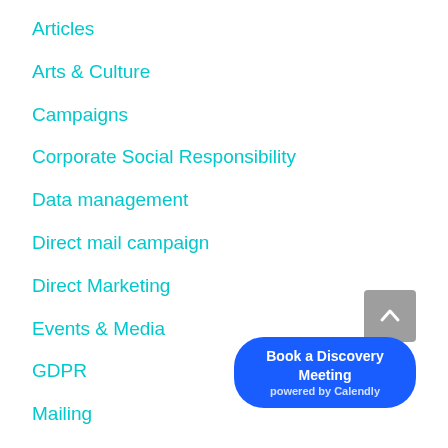Articles
Arts & Culture
Campaigns
Corporate Social Responsibility
Data management
Direct mail campaign
Direct Marketing
Events & Media
GDPR
Mailing
Membership management
membership organis...
migrate
[Figure (other): Back to top button (grey square with upward chevron) and a 'Book a Discovery Meeting powered by Calendly' blue rounded button overlay in the bottom right corner]